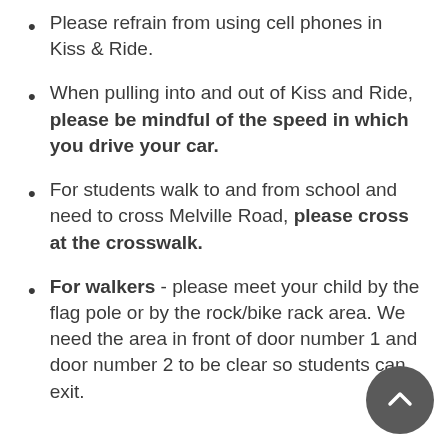Please refrain from using cell phones in Kiss & Ride.
When pulling into and out of Kiss and Ride, please be mindful of the speed in which you drive your car.
For students walk to and from school and need to cross Melville Road, please cross at the crosswalk.
For walkers - please meet your child by the flag pole or by the rock/bike rack area. We need the area in front of door number 1 and door number 2 to be clear so students can exit.